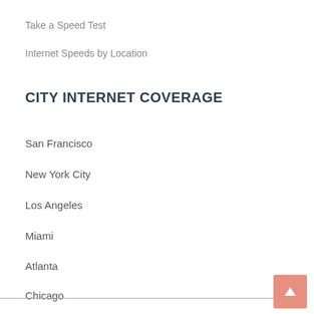Take a Speed Test
Internet Speeds by Location
CITY INTERNET COVERAGE
San Francisco
New York City
Los Angeles
Miami
Atlanta
Chicago